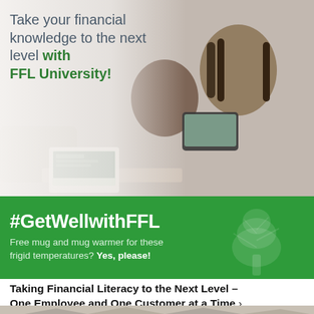[Figure (photo): Two people (a man and a woman) smiling and looking at a tablet together, with a laptop open on a table in front of them. White/light overlay on the left side where text appears.]
Take your financial knowledge to the next level with FFL University!
[Figure (infographic): Green banner with hashtag #GetWellwithFFL text and a faint tree watermark on the right. Text reads: Free mug and mug warmer for these frigid temperatures? Yes, please!]
Taking Financial Literacy to the Next Level – One Employee and One Customer at a Time ›
[Figure (photo): Bottom portion of houses with rooftops visible, partial view of American flag in the center.]